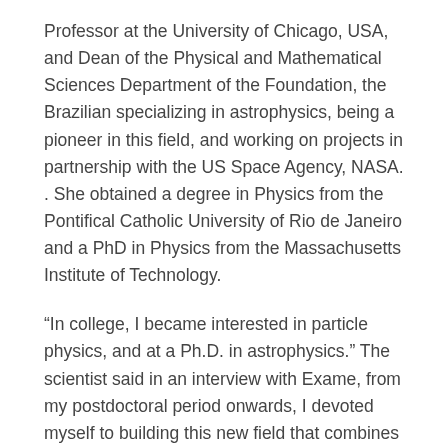Professor at the University of Chicago, USA, and Dean of the Physical and Mathematical Sciences Department of the Foundation, the Brazilian specializing in astrophysics, being a pioneer in this field, and working on projects in partnership with the US Space Agency, NASA. . She obtained a degree in Physics from the Pontifical Catholic University of Rio de Janeiro and a PhD in Physics from the Massachusetts Institute of Technology.
“In college, I became interested in particle physics, and at a Ph.D. in astrophysics.” The scientist said in an interview with Exame, from my postdoctoral period onwards, I devoted myself to building this new field that combines two areas of my previous interests.
In addition to the important chair that he now occupies